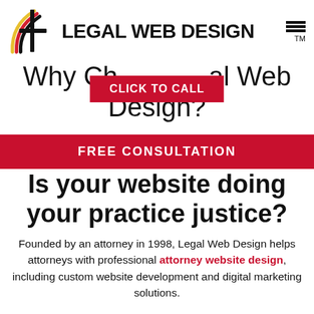[Figure (logo): Legal Web Design logo with circular rainbow arc graphic and bold text 'LEGAL WEB DESIGN' with TM mark and hamburger menu icon]
Why Choose Legal Web Design?
CLICK TO CALL
FREE CONSULTATION
Is your website doing your practice justice?
Founded by an attorney in 1998, Legal Web Design helps attorneys with professional attorney website design, including custom website development and digital marketing solutions.